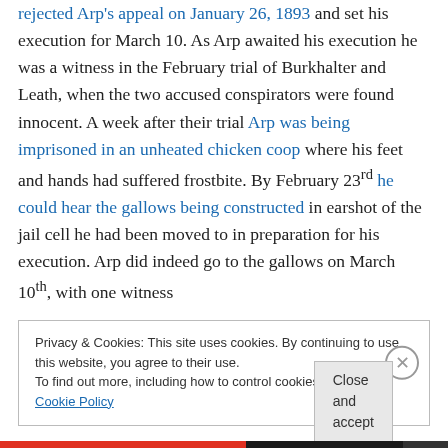rejected Arp's appeal on January 26, 1893 and set his execution for March 10. As Arp awaited his execution he was a witness in the February trial of Burkhalter and Leath, when the two accused conspirators were found innocent. A week after their trial Arp was being imprisoned in an unheated chicken coop where his feet and hands had suffered frostbite. By February 23rd he could hear the gallows being constructed in earshot of the jail cell he had been moved to in preparation for his execution. Arp did indeed go to the gallows on March 10th, with one witness
Privacy & Cookies: This site uses cookies. By continuing to use this website, you agree to their use.
To find out more, including how to control cookies, see here: Cookie Policy